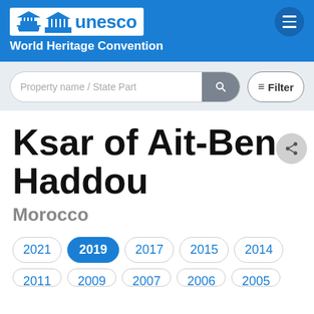UNESCO World Heritage Convention
Property name / State Part [search bar]
Ksar of Ait-Ben-Haddou
Morocco
2021
2019
2017
2015
2014
2011
2009
2007
2006
2005